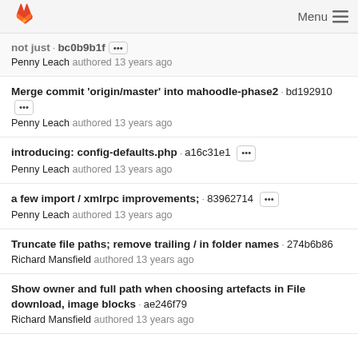GitLab · Menu
not just · bc0b9b1f ··· Penny Leach authored 13 years ago
Merge commit 'origin/master' into mahoodle-phase2 · bd192910 ··· Penny Leach authored 13 years ago
introducing: config-defaults.php · a16c31e1 ··· Penny Leach authored 13 years ago
a few import / xmlrpc improvements; · 83962714 ··· Penny Leach authored 13 years ago
Truncate file paths; remove trailing / in folder names · 274b6b86 Richard Mansfield authored 13 years ago
Show owner and full path when choosing artefacts in File download, image blocks · ae246f79 Richard Mansfield authored 13 years ago